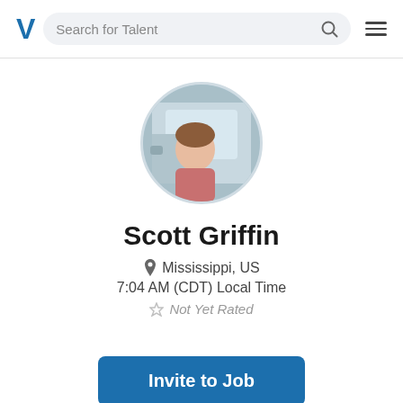Search for Talent
[Figure (photo): Circular profile photo of Scott Griffin, a man sitting in the driver seat of a vehicle, looking out the window.]
Scott Griffin
Mississippi, US
7:04 AM (CDT) Local Time
Not Yet Rated
Invite to Job